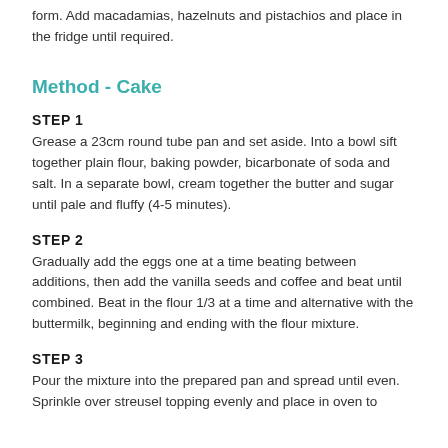form. Add macadamias, hazelnuts and pistachios and place in the fridge until required.
Method - Cake
STEP 1
Grease a 23cm round tube pan and set aside. Into a bowl sift together plain flour, baking powder, bicarbonate of soda and salt. In a separate bowl, cream together the butter and sugar until pale and fluffy (4-5 minutes).
STEP 2
Gradually add the eggs one at a time beating between additions, then add the vanilla seeds and coffee and beat until combined. Beat in the flour 1/3 at a time and alternative with the buttermilk, beginning and ending with the flour mixture.
STEP 3
Pour the mixture into the prepared pan and spread until even. Sprinkle over streusel topping evenly and place in oven to